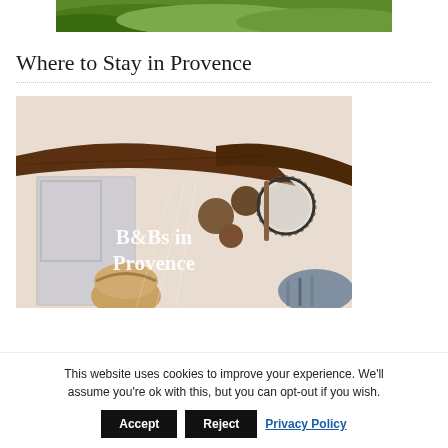[Figure (photo): Green rolling hills / landscape banner image at top of page]
Where to Stay in Provence
[Figure (photo): Interior of a rustic Provençal B&B room with exposed wooden beam, mirrors, decorative wall items, and wicker basket. Overlaid white text reads 'B&Bs in Provence'.]
This website uses cookies to improve your experience. We'll assume you're ok with this, but you can opt-out if you wish.
Accept  Reject  Privacy Policy